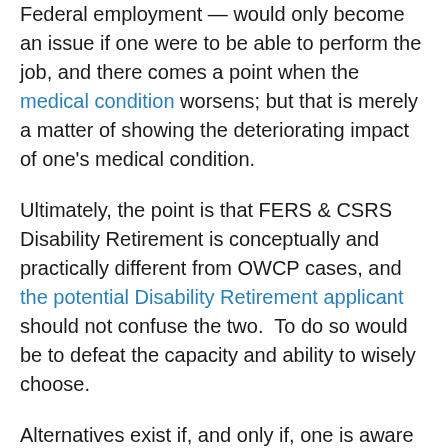Federal employment — would only become an issue if one were to be able to perform the job, and there comes a point when the medical condition worsens; but that is merely a matter of showing the deteriorating impact of one's medical condition.
Ultimately, the point is that FERS & CSRS Disability Retirement is conceptually and practically different from OWCP cases, and the potential Disability Retirement applicant should not confuse the two.  To do so would be to defeat the capacity and ability to wisely choose.
Alternatives exist if, and only if, one is aware of the choices to be made.  Wisdom comes about when one becomes aware of differences between two or more choices.
Sincerely,